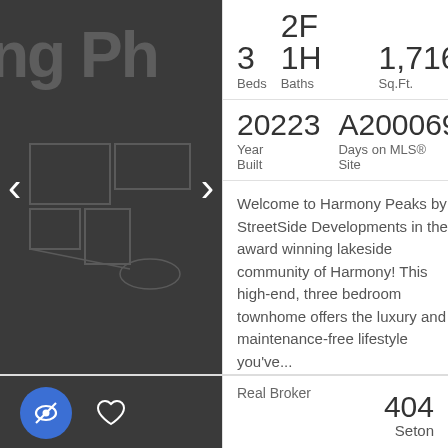[Figure (photo): Dark grey architectural/floor plan background image with navigation arrows, showing partial text 'ng Ph']
3 Beds   2F 1H Baths   1,716 Sq.Ft.
20223 Year Built   A200069 Days on MLS® Site
Welcome to Harmony Peaks by StreetSide Developments in the award winning lakeside community of Harmony! This high-end, three bedroom townhome offers the luxury and maintenance-free lifestyle you've...
Real Broker
[Figure (screenshot): Partial second listing card with eye-slash icon in blue circle and heart icon on dark background, showing 404 and partial text 'Seton']